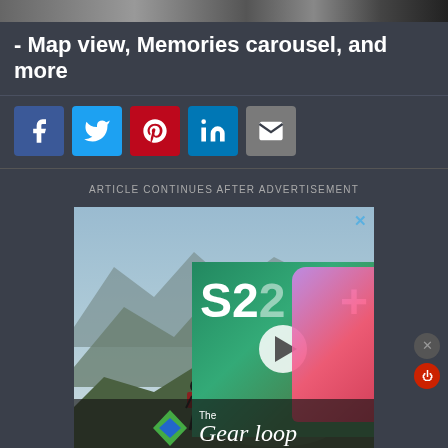[Figure (photo): Top strip showing partial image - dark background with blurred figures]
- Map view, Memories carousel, and more
[Figure (screenshot): Social sharing buttons: Facebook (blue), Twitter (blue), Pinterest (red), LinkedIn (blue), Email (gray)]
ARTICLE CONTINUES AFTER ADVERTISEMENT
[Figure (photo): Advertisement featuring The Gear Loop with a hiker on a mountain and a Samsung S22+ phone overlay with play button]